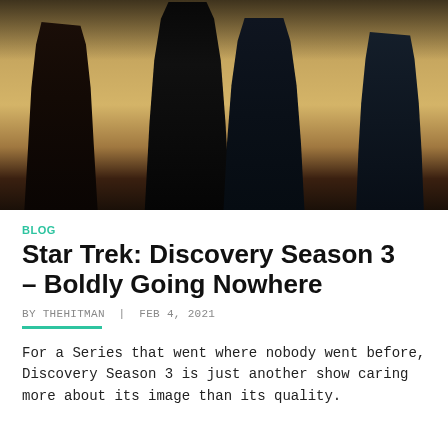[Figure (photo): Promotional photo of Star Trek: Discovery Season 3 cast members in dark costumes standing against a desert/sandy background]
BLOG
Star Trek: Discovery Season 3 – Boldly Going Nowhere
BY THEHITMAN | FEB 4, 2021
For a Series that went where nobody went before, Discovery Season 3 is just another show caring more about its image than its quality.